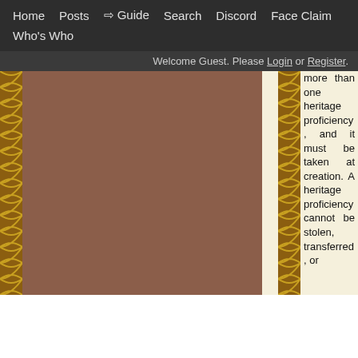Home  Posts  ⇨ Guide  Search  Discord  Face Claim  Who's Who
Welcome Guest. Please Login or Register.
[Figure (photo): Brown/mauve colored image area with decorative gold and dark brown wave/scale pattern borders on left and right sides]
more than one heritage proficiency, and it must be taken at creation. A heritage proficiency cannot be stolen, transferred, or